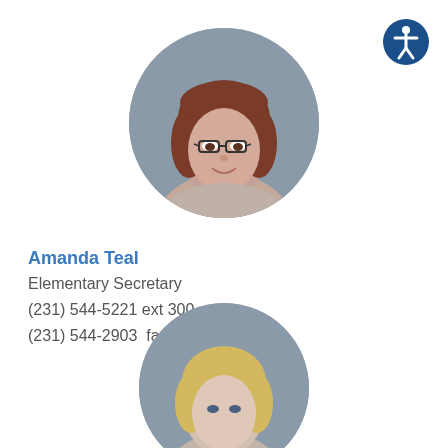[Figure (photo): Circular portrait photo of Amanda Teal, a woman with reddish-brown hair and glasses, wearing a light top, against a grey background.]
Amanda Teal
Elementary Secretary
(231) 544-5221 ext 300
(231) 544-2903  fax
[Figure (photo): Circular portrait photo (partially visible, cropped at bottom) of a person with blonde hair against a grey background.]